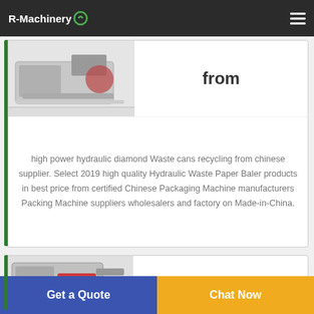R-Machinery
[Figure (photo): Industrial hydraulic waste baler machine, side/front view, gray background]
from
high power hydraulic diamond Waste cans recycling from chinese supplier. Select 2019 high quality Hydraulic Waste Paper Baler products in best price from certified Chinese Packaging Machine manufacturers Packing Machine suppliers wholesalers and factory on Made-in-China.
[Figure (photo): Industrial baler machine with red and gray components, front view, white star marking visible]
high power hydraulic diamond
Get a Quote
Chat Now